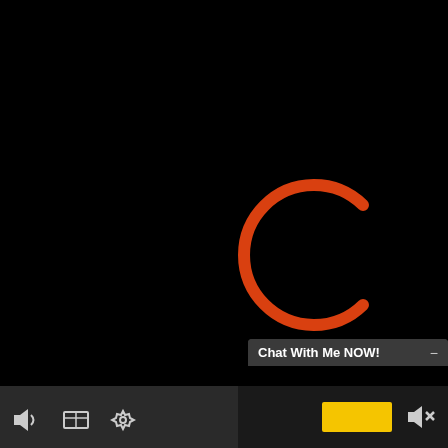[Figure (screenshot): Video player with black background showing a loading spinner arc in orange/red on the right side of the screen. Bottom bar has player controls including volume, aspect ratio, and settings icons on the left, and a muted speaker icon with yellow rectangle on the right. A chat popup labeled 'Chat With Me NOW!' appears above the bottom bar on the right side.]
Chat With Me NOW!